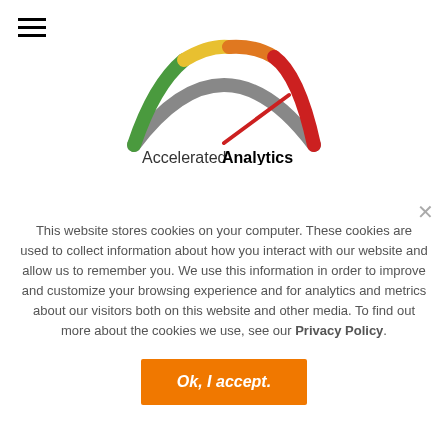[Figure (logo): Accelerated Analytics logo with speedometer arc in gray, green, yellow, red colors and bold text]
News
Partners
Careers
Reviews
This website stores cookies on your computer. These cookies are used to collect information about how you interact with our website and allow us to remember you. We use this information in order to improve and customize your browsing experience and for analytics and metrics about our visitors both on this website and other media. To find out more about the cookies we use, see our Privacy Policy.
Ok, I accept.